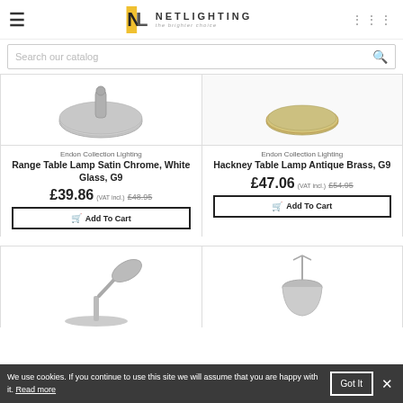NETLIGHTING the brighter choice
Search our catalog
Endon Collection Lighting
Range Table Lamp Satin Chrome, White Glass, G9
£39.86 (VAT incl.) £48.95
Add To Cart
Endon Collection Lighting
Hackney Table Lamp Antique Brass, G9
£47.06 (VAT incl.) £54.95
Add To Cart
We use cookies. If you continue to use this site we will assume that you are happy with it. Read more